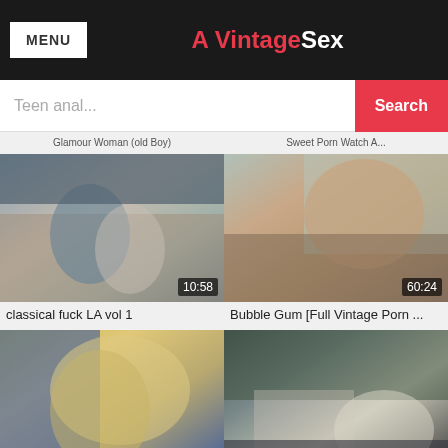A VintageSex
Teen anal...
[Figure (screenshot): Video thumbnail for classical fuck LA vol 1, duration 10:58]
classical fuck LA vol 1
[Figure (screenshot): Video thumbnail for Bubble Gum [Full Vintage Porn ..., duration 60:24]
Bubble Gum [Full Vintage Porn ...
[Figure (screenshot): Video thumbnail for Fellow with mustache ploughs b..., duration 09:09]
Fellow with mustache ploughs b...
[Figure (screenshot): Video thumbnail for Tropic Of Dream 1979 HD, duration 81:15]
Tropic Of Dream 1979 HD